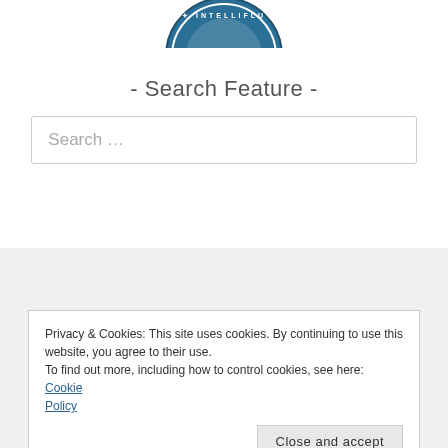[Figure (logo): Partial circular badge/seal logo with 'INTELLIFLU...' text in blue, top portion visible]
- Search Feature -
Search …
Privacy & Cookies: This site uses cookies. By continuing to use this website, you agree to their use.
To find out more, including how to control cookies, see here: Cookie Policy
Close and accept
JuneI Ann Divinagracia, Iloilo City Tourism Officer